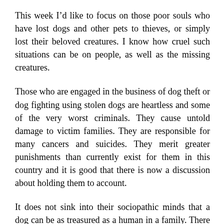This week I’d like to focus on those poor souls who have lost dogs and other pets to thieves, or simply lost their beloved creatures. I know how cruel such situations can be on people, as well as the missing creatures.
Those who are engaged in the business of dog theft or dog fighting using stolen dogs are heartless and some of the very worst criminals. They cause untold damage to victim families. They are responsible for many cancers and suicides. They merit greater punishments than currently exist for them in this country and it is good that there is now a discussion about holding them to account.
It does not sink into their sociopathic minds that a dog can be as treasured as a human in a family. There is nothing wrong with such families. They are not weird. They are not living against the scriptures. Showing love and care for a dog is a positive thing. This is one of